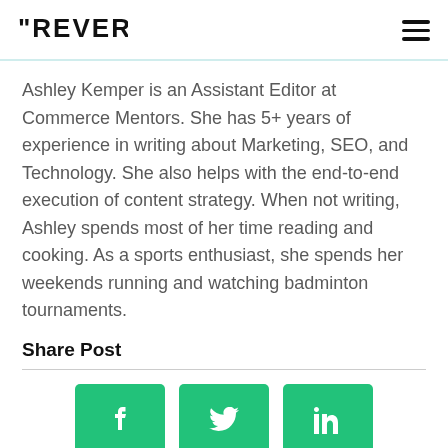REVERB [logo] [hamburger menu]
Ashley Kemper is an Assistant Editor at Commerce Mentors. She has 5+ years of experience in writing about Marketing, SEO, and Technology. She also helps with the end-to-end execution of content strategy. When not writing, Ashley spends most of her time reading and cooking. As a sports enthusiast, she spends her weekends running and watching badminton tournaments.
Share Post
[Figure (infographic): Three green square social media share buttons: Facebook (f icon), Twitter (bird icon), LinkedIn (in icon)]